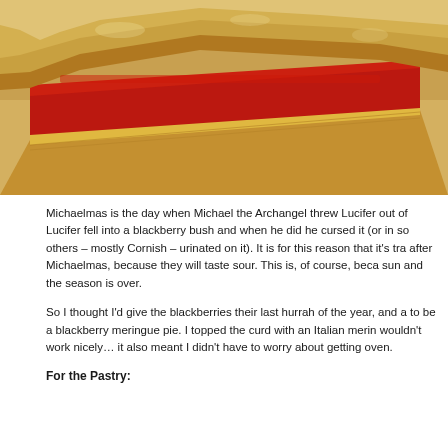[Figure (photo): Close-up photo of a slice of pastry/pie with red jam/blackberry filling and flaky pastry crust on a light background]
Michaelmas is the day when Michael the Archangel threw Lucifer out of heaven. Lucifer fell into a blackberry bush and when he did he cursed it (or in some versions, others – mostly Cornish – urinated on it). It is for this reason that it's traditional not to pick after Michaelmas, because they will taste sour. This is, of course, because they're getting less sun and the season is over.
So I thought I'd give the blackberries their last hurrah of the year, and a hurrah it was to be a blackberry meringue pie. I topped the curd with an Italian meringue which I knew wouldn't work nicely… it also meant I didn't have to worry about getting raw egg whites in the oven.
For the Pastry: